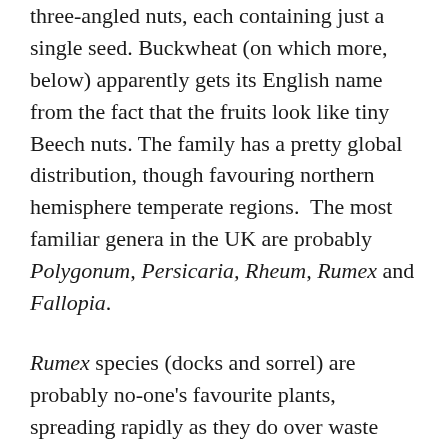three-angled nuts, each containing just a single seed. Buckwheat (on which more, below) apparently gets its English name from the fact that the fruits look like tiny Beech nuts. The family has a pretty global distribution, though favouring northern hemisphere temperate regions.  The most familiar genera in the UK are probably Polygonum, Persicaria, Rheum, Rumex and Fallopia.
Rumex species (docks and sorrel) are probably no-one's favourite plants, spreading rapidly as they do over waste land and giving it rather an unloved appearance in the autumn, with their